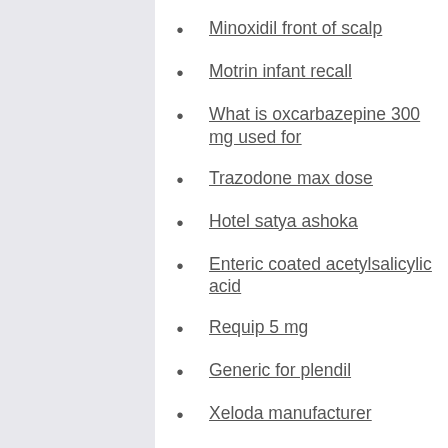Minoxidil front of scalp
Motrin infant recall
What is oxcarbazepine 300 mg used for
Trazodone max dose
Hotel satya ashoka
Enteric coated acetylsalicylic acid
Requip 5 mg
Generic for plendil
Xeloda manufacturer
Verapamil and grapefruit
What is zyloprim used for